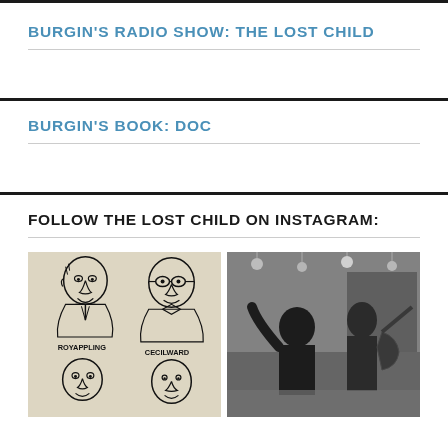BURGIN'S RADIO SHOW: THE LOST CHILD
BURGIN'S BOOK: DOC
FOLLOW THE LOST CHILD ON INSTAGRAM:
[Figure (illustration): Hand-drawn caricatures of men labeled ROY APPLING and CECILWARD (Cecil Ward), with two more figures below]
[Figure (photo): Black and white concert photo showing musicians performing on stage with hanging lights in background]